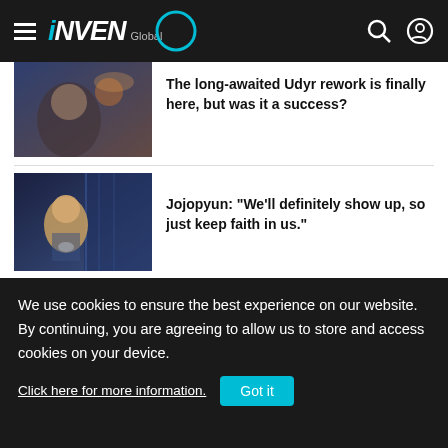INVEN Global
[Figure (photo): Game character artwork for Udyr rework (League of Legends)]
The long-awaited Udyr rework is finally here, but was it a success?
[Figure (photo): Photo of Jojopyun, an esports player, in a dramatic pose]
Jojopyun: "We'll definitely show up, so just keep faith in us."
[Figure (photo): Screenshot of a colorful mobile shooter game map]
Ranking the Top 5 Best Mobile Shooters
We use cookies to ensure the best experience on our website. By continuing, you are agreeing to allow us to store and access cookies on your device.
Click here for more information.
Got it